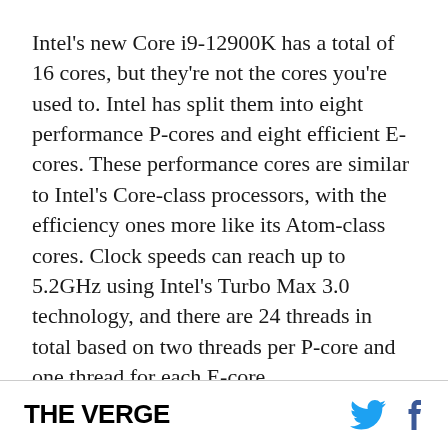Intel's new Core i9-12900K has a total of 16 cores, but they're not the cores you're used to. Intel has split them into eight performance P-cores and eight efficient E-cores. These performance cores are similar to Intel's Core-class processors, with the efficiency ones more like its Atom-class cores. Clock speeds can reach up to 5.2GHz using Intel's Turbo Max 3.0 technology, and there are 24 threads in total based on two threads per P-core and one thread for each E-core.

Intel is also offering DDR5 memory support for the first time and PCIe 5.0 support. This means you'll
THE VERGE